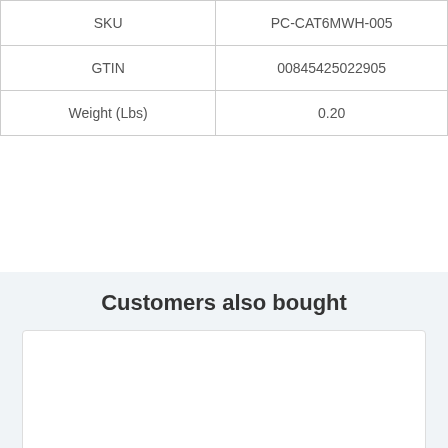| SKU | PC-CAT6MWH-005 |
| --- | --- |
| GTIN | 00845425022905 |
| Weight (Lbs) | 0.20 |
Customers also bought
[Figure (other): Empty white product card placeholder in the 'Customers also bought' section]